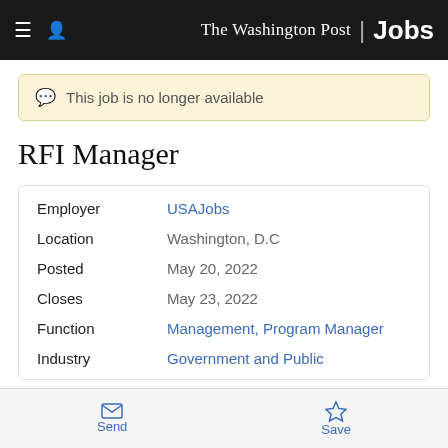The Washington Post | Jobs
This job is no longer available
RFI Manager
| Field | Value |
| --- | --- |
| Employer | USAJobs |
| Location | Washington, D.C |
| Posted | May 20, 2022 |
| Closes | May 23, 2022 |
| Function | Management, Program Manager |
| Industry | Government and Public |
Send | Save